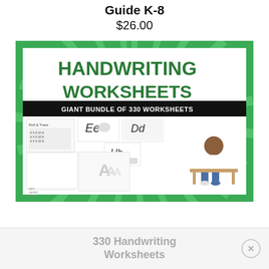Writing Workshop Guide K-8
$26.00
[Figure (illustration): Product cover image for '330 Handwriting Worksheets - Giant Bundle of 330 Worksheets' showing a green starburst border, large green text 'HANDWRITING WORKSHEETS', black banner 'GIANT BUNDLE OF 330 WORKSHEETS', and preview images of various handwriting worksheet pages including letter tracing, a child sitting at a desk.]
330 Handwriting Worksheets